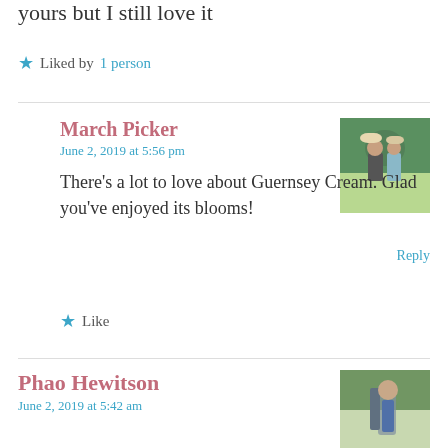yours but I still love it
Liked by 1 person
March Picker
June 2, 2019 at 5:56 pm
There's a lot to love about Guernsey Cream. Glad you've enjoyed its blooms!
Like
Phao Hewitson
June 2, 2019 at 5:42 am